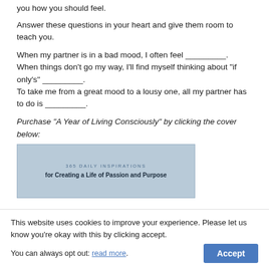you how you should feel.
Answer these questions in your heart and give them room to teach you.
When my partner is in a bad mood, I often feel _________.
When things don't go my way, I'll find myself thinking about "if only's" _________.
To take me from a great mood to a lousy one, all my partner has to do is _________.
Purchase "A Year of Living Consciously" by clicking the cover below:
[Figure (illustration): Book cover showing '365 Daily Inspirations for Creating a Life of Passion and Purpose' with blue/grey background]
This website uses cookies to improve your experience. Please let us know you're okay with this by clicking accept.
You can always opt out: read more.